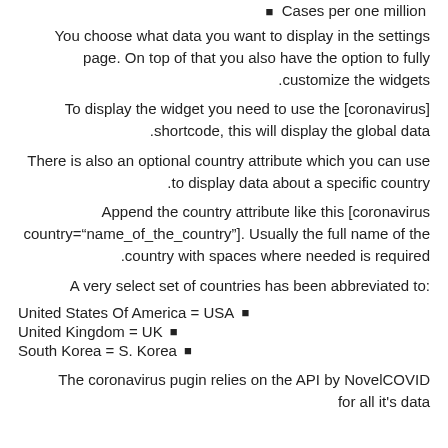Cases per one million ■
You choose what data you want to display in the settings page. On top of that you also have the option to fully customize the widgets.
To display the widget you need to use the [coronavirus] shortcode, this will display the global data.
There is also an optional country attribute which you can use to display data about a specific country.
Append the country attribute like this [coronavirus country="name_of_the_country"]. Usually the full name of the country with spaces where needed is required.
A very select set of countries has been abbreviated to:
United States Of America = USA
United Kingdom = UK
South Korea = S. Korea
The coronavirus pugin relies on the API by NovelCOVID for all it's data